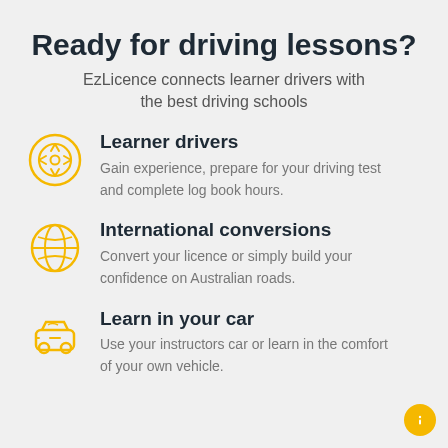Ready for driving lessons?
EzLicence connects learner drivers with the best driving schools
Learner drivers — Gain experience, prepare for your driving test and complete log book hours.
International conversions — Convert your licence or simply build your confidence on Australian roads.
Learn in your car — Use your instructors car or learn in the comfort of your own vehicle.